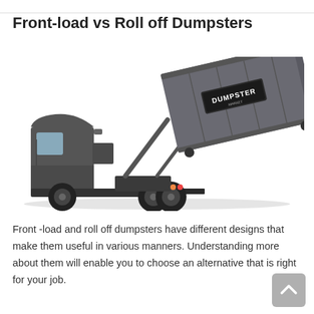Front-load vs Roll off Dumpsters
[Figure (photo): A roll-off truck with a large gray dumpster/container being loaded or unloaded, showing the truck cab on the left and the tilted dumpster container on the right with a 'DUMPSTER' logo label on its side.]
Front -load and roll off dumpsters have different designs that make them useful in various manners. Understanding more about them will enable you to choose an alternative that is right for your job.